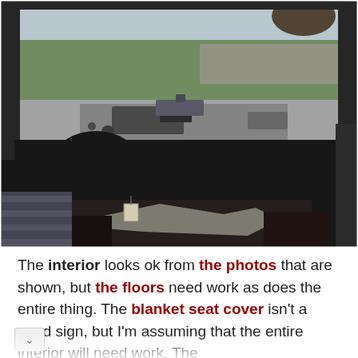[Figure (photo): Interior photo of an old car taken from the back seat looking forward. Shows the dashboard, steering wheel, and front seat area. The interior appears worn and in poor condition. A blanket seat cover is visible on the front seat. The floor area shows debris and worn materials. Through the windshield, green grass and a road are visible.]
The interior looks ok from the photos that are shown, but the floors need work as does the entire thing. The blanket seat cover isn't a good sign, but I'm assuming that the entire interior will need work. The